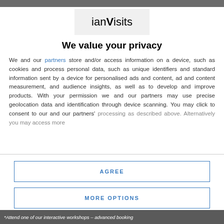[Figure (logo): ianVisits logo on light grey background]
We value your privacy
We and our partners store and/or access information on a device, such as cookies and process personal data, such as unique identifiers and standard information sent by a device for personalised ads and content, ad and content measurement, and audience insights, as well as to develop and improve products. With your permission we and our partners may use precise geolocation data and identification through device scanning. You may click to consent to our and our partners' processing as described above. Alternatively you may access more
AGREE
MORE OPTIONS
*Attend one of our interactive workshops – advanced booking